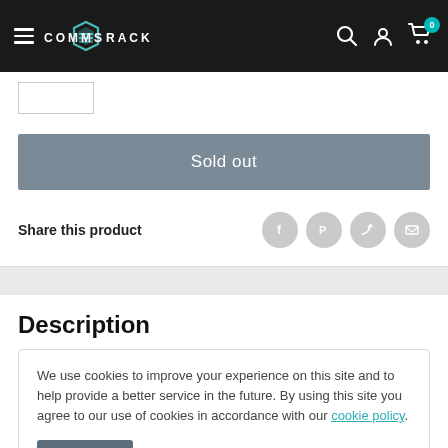COMMS RACK — navigation header with hamburger menu, logo, search, account, cart (0)
Sold out
Share this product
Description
We use cookies to improve your experience on this site and to help provide a better service in the future. By using this site you agree to our use of cookies in accordance with our cookie policy.
Accept
Cabinet Features